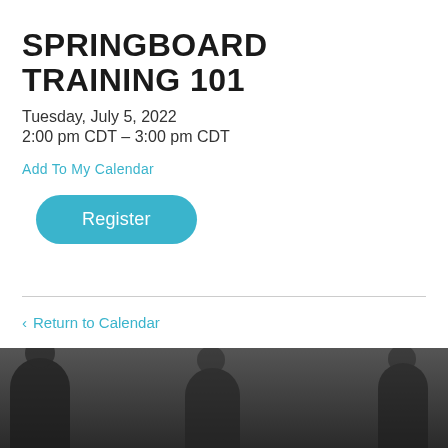SPRINGBOARD TRAINING 101
Tuesday, July 5, 2022
2:00 pm CDT – 3:00 pm CDT
Add To My Calendar
Register
‹ Return to Calendar
[Figure (photo): Dark background photo showing silhouettes of people in an office or meeting room setting, grayscale/dark toned image at bottom of page]